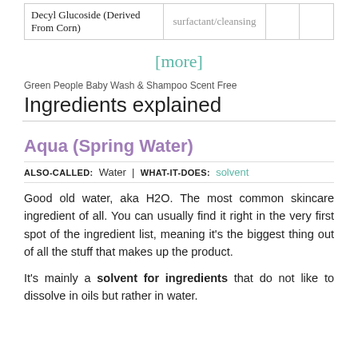|  |  |  |  |
| --- | --- | --- | --- |
| Decyl Glucoside (Derived From Corn) | surfactant/cleansing |  |  |
[more]
Green People Baby Wash & Shampoo Scent Free
Ingredients explained
Aqua (Spring Water)
ALSO-CALLED: Water | WHAT-IT-DOES: solvent
Good old water, aka H2O. The most common skincare ingredient of all. You can usually find it right in the very first spot of the ingredient list, meaning it's the biggest thing out of all the stuff that makes up the product.
It's mainly a solvent for ingredients that do not like to dissolve in oils but rather in water.